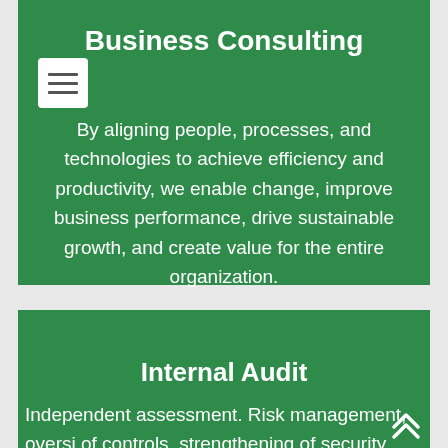Business Consulting
[Figure (other): Hamburger menu icon - white square with three horizontal lines]
By aligning people, processes, and technologies to achieve efficiency and productivity, we enable change, improve business performance, drive sustainable growth, and create value for the entire organization.
Internal Audit
Independent assessment. Risk management, oversi of controls, strengthening of security and improvement